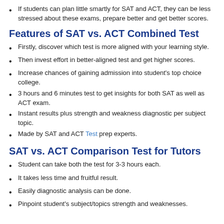If students can plan little smartly for SAT and ACT, they can be less stressed about these exams, prepare better and get better scores.
Features of SAT vs. ACT Combined Test
Firstly, discover which test is more aligned with your learning style.
Then invest effort in better-aligned test and get higher scores.
Increase chances of gaining admission into student's top choice college.
3 hours and 6 minutes test to get insights for both SAT as well as ACT exam.
Instant results plus strength and weakness diagnostic per subject topic.
Made by SAT and ACT Test prep experts.
SAT vs. ACT Comparison Test for Tutors
Student can take both the test for 3-3 hours each.
It takes less time and fruitful result.
Easily diagnostic analysis can be done.
Pinpoint student's subject/topics strength and weaknesses.